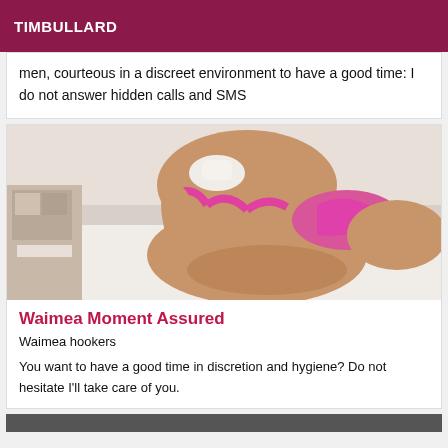TIMBULLARD
men, courteous in a discreet environment to have a good time: I do not answer hidden calls and SMS
[Figure (photo): Person wearing pink bikini, posed on white surface, indoor setting]
Waimea Moment Assured
Waimea hookers
You want to have a good time in discretion and hygiene? Do not hesitate I'll take care of you.